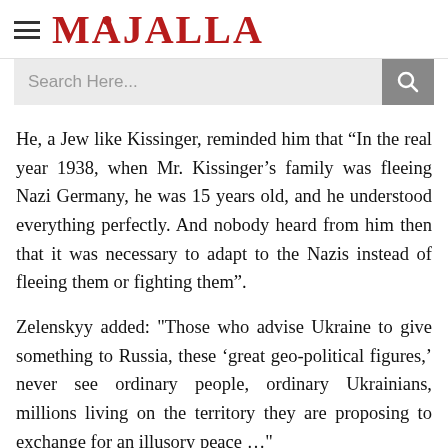MAJALLA
He, a Jew like Kissinger, reminded him that “In the real year 1938, when Mr. Kissinger’s family was fleeing Nazi Germany, he was 15 years old, and he understood everything perfectly. And nobody heard from him then that it was necessary to adapt to the Nazis instead of fleeing them or fighting them”.
Zelenskyy added: "Those who advise Ukraine to give something to Russia, these 'great geo-political figures,' never see ordinary people, ordinary Ukrainians, millions living on the territory they are proposing to exchange for an illusory peace …"